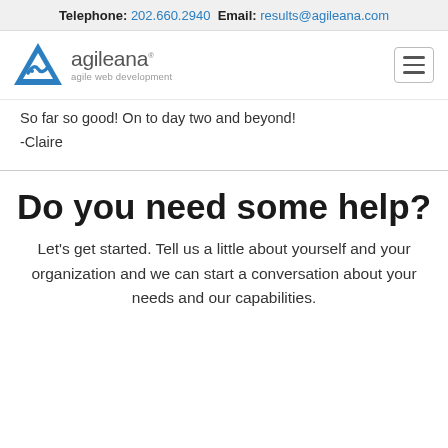Telephone: 202.660.2940 Email: results@agileana.com
[Figure (logo): Agileana logo with blue triangle mountain shape and text 'agileana agile web development']
So far so good! On to day two and beyond!
-Claire
Do you need some help?
Let's get started. Tell us a little about yourself and your organization and we can start a conversation about your needs and our capabilities.